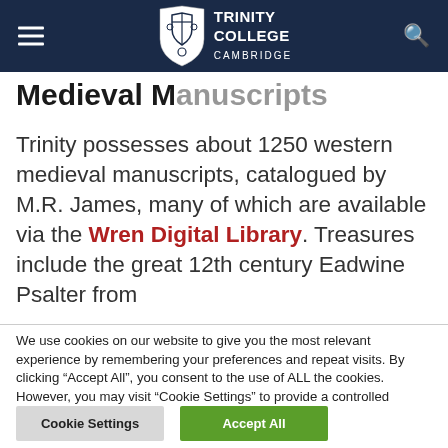[Figure (logo): Trinity College Cambridge logo with shield and text in navy header bar]
Medieval M…scripts
Trinity possesses about 1250 western medieval manuscripts, catalogued by M.R. James, many of which are available via the Wren Digital Library. Treasures include the great 12th century Eadwine Psalter from
We use cookies on our website to give you the most relevant experience by remembering your preferences and repeat visits. By clicking “Accept All”, you consent to the use of ALL the cookies. However, you may visit “Cookie Settings” to provide a controlled consent.
Cookie Settings | Accept All